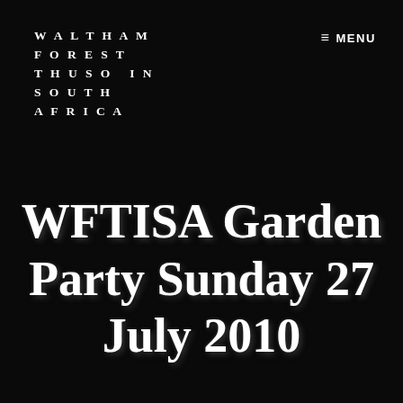WALTHAM FOREST THUSO IN SOUTH AFRICA
MENU
WFTISA Garden Party Sunday 27 July 2010